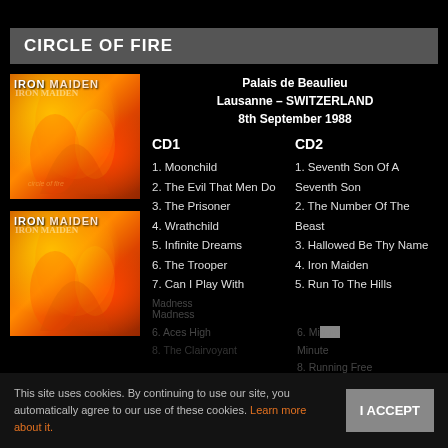CIRCLE OF FIRE
Palais de Beaulieu
Lausanne – SWITZERLAND
8th September 1988
[Figure (photo): Iron Maiden album cover art - fiery orange and red illustration, top image]
[Figure (photo): Iron Maiden album cover art - fiery orange and red illustration, bottom image]
CD1
CD2
1. Moonchild
2. The Evil That Men Do
3. The Prisoner
4. Wrathchild
5. Infinite Dreams
6. The Trooper
7. Can I Play With Madness
1. Seventh Son Of A Seventh Son
2. The Number Of The Beast
3. Hallowed Be Thy Name
4. Iron Maiden
5. Run To The Hills
This site uses cookies. By continuing to use our site, you automatically agree to our use of these cookies. Learn more about it.
I ACCEPT